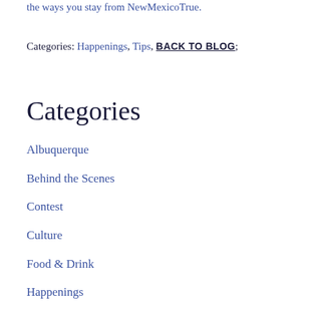the ways you stay from NewMexicoTrue.
Categories: Happenings, Tips, BACK TO BLOG;
Categories
Albuquerque
Behind the Scenes
Contest
Culture
Food & Drink
Happenings
Sandia Peak
Ski New Mexico News